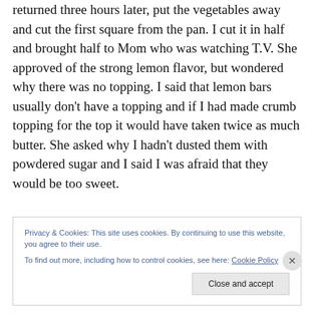returned three hours later, put the vegetables away and cut the first square from the pan. I cut it in half and brought half to Mom who was watching T.V. She approved of the strong lemon flavor, but wondered why there was no topping. I said that lemon bars usually don't have a topping and if I had made crumb topping for the top it would have taken twice as much butter. She asked why I hadn't dusted them with powdered sugar and I said I was afraid that they would be too sweet.
Privacy & Cookies: This site uses cookies. By continuing to use this website, you agree to their use.
To find out more, including how to control cookies, see here: Cookie Policy